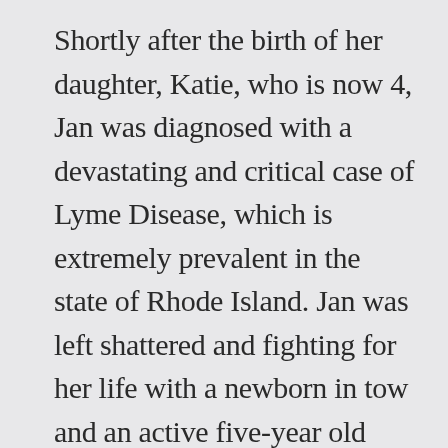Shortly after the birth of her daughter, Katie, who is now 4, Jan was diagnosed with a devastating and critical case of Lyme Disease, which is extremely prevalent in the state of Rhode Island. Jan was left shattered and fighting for her life with a newborn in tow and an active five-year old boy. Jan quickly figured out that if she were going to survive what she called 'rock